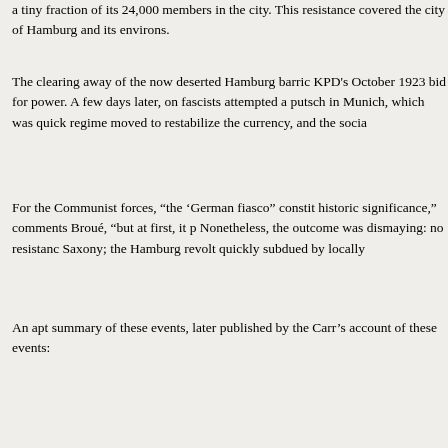a tiny fraction of its 24,000 members in the city. This resistance covered the city of Hamburg and its environs.
The clearing away of the now deserted Hamburg barricades ended the KPD's October 1923 bid for power. A few days later, on November 8-9, fascists attempted a putsch in Munich, which was quickly crushed. The regime moved to restabilize the currency, and the socia...
For the Communist forces, "the 'German fiasco" constitutes an event of historic significance," comments Broué, "but at first, it pa... Nonetheless, the outcome was dismaying: no resistance... Saxony; the Hamburg revolt quickly subdued by locally...
An apt summary of these events, later published by the... Carr's account of these events:
The technical preparations, the mobilization of th... struggle for power, the equipment and moral dis... hundreds were on a low level. The too brief and... preparations yielded in practice nothing; in the te... party membership for action, but failed to reach t... [20]
Carr adds his own verdict: "No Russian schooling could... military detachments of the KPD a match for the discipli... Reichswehr."[21]